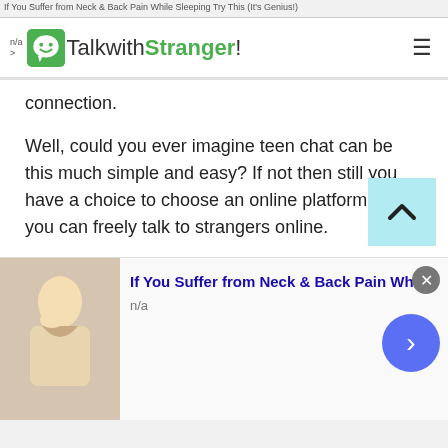If You Suffer from Neck & Back Pain While Sleeping Try This (It's Genius!)
[Figure (logo): TalkwithStranger! website logo with green smiley face icon]
connection.
Well, could you ever imagine teen chat can be this much simple and easy? If not then still you have a choice to choose an online platform where you can freely talk to strangers online.
Boys chat
Free boys chat is absolutely much easier when you don't need to sign up or create an account for registration. Talking to strangers in Czech Republic
[Figure (screenshot): Scroll to top button with upward chevron on light blue background]
[Figure (photo): Advertisement banner: woman touching neck, promoting neck and back pain solution]
If You Suffer from Neck & Back Pain While
n/a